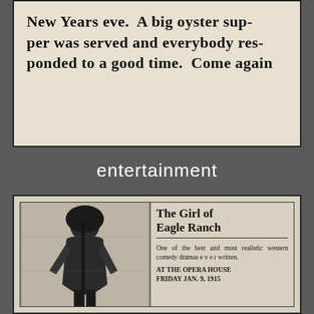New Years eve. A big oyster supper was served and everybody responded to a good time. Come again
entertainment
[Figure (photo): Newspaper advertisement clipping showing a photo of a woman on the left, and text on the right reading: The Girl of Eagle Ranch. One of the best and most realistic western comedy dramas ever written. AT THE OPERA HOUSE FRIDAY JAN. 9, 1915]